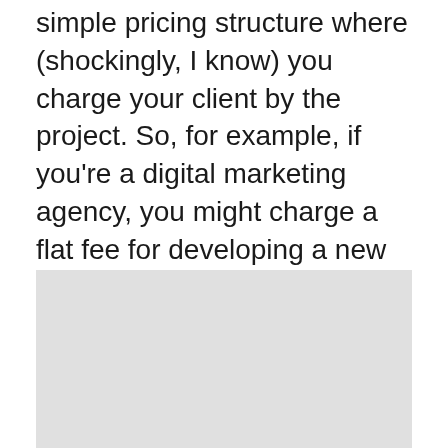simple pricing structure where (shockingly, I know) you charge your client by the project. So, for example, if you're a digital marketing agency, you might charge a flat fee for developing a new Facebook ads campaign or an SEO site audit. Or, if you're a graphic design agency, you might charge a flat fee for a logo and brand identity package.
[Figure (other): A light gray rectangular placeholder image]